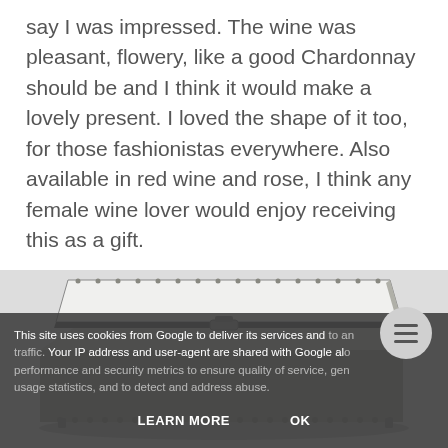say I was impressed. The wine was pleasant, flowery, like a good Chardonnay should be and I think it would make a lovely present. I loved the shape of it too, for those fashionistas everywhere. Also available in red wine and rose, I think any female wine lover would enjoy receiving this as a gift.
[Figure (photo): A decorative silver/chrome rectangular jewelry box or tray with ornate beaded edges, photographed at an angle showing the lid slightly open, on a white background.]
This site uses cookies from Google to deliver its services and to analyze traffic. Your IP address and user-agent are shared with Google along with performance and security metrics to ensure quality of service, generate usage statistics, and to detect and address abuse.
LEARN MORE   OK